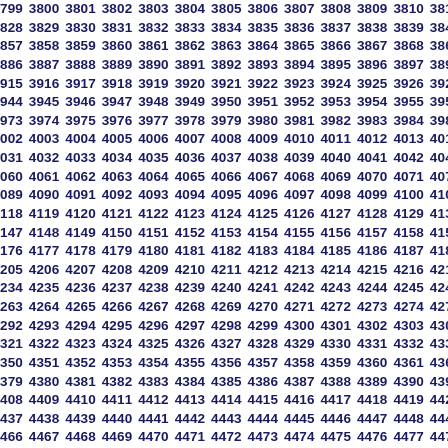Sequential numbers from approximately 3799-3813 through 4495-4509, displayed in rows of approximately 15 numbers each, bold dark blue monospace-style font on white background.